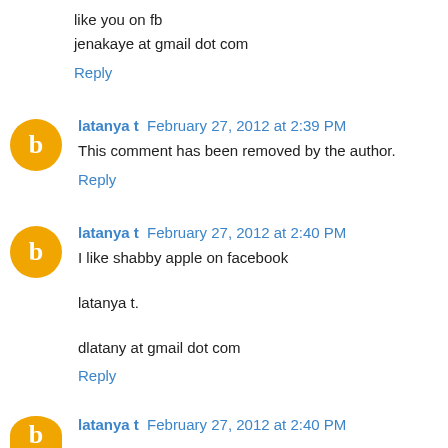like you on fb
jenakaye at gmail dot com
Reply
latanya t  February 27, 2012 at 2:39 PM
This comment has been removed by the author.
Reply
latanya t  February 27, 2012 at 2:40 PM
I like shabby apple on facebook

latanya t.

dlatany at gmail dot com
Reply
latanya t  February 27, 2012 at 2:40 PM